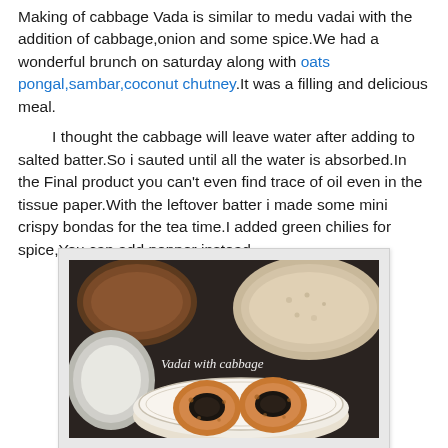Making of cabbage Vada is similar to medu vadai with the addition of cabbage,onion and some spice.We had a wonderful brunch on saturday along with oats pongal,sambar,coconut chutney.It was a filling and delicious meal.

I thought the cabbage will leave water after adding to salted batter.So i sauted until all the water is absorbed.In the Final product you can't even find trace of oil even in the tissue paper.With the leftover batter i made some mini crispy bondas for the tea time.I added green chilies for spice,You can add pepper instead.
[Figure (photo): Top-down food photo showing two golden-brown vada (donut-shaped fried snacks) on a white plate in the foreground, with bowls of oats pongal (grainy white porridge) and sambar visible in the background. White text overlay reads 'Vadai with cabbage'.]